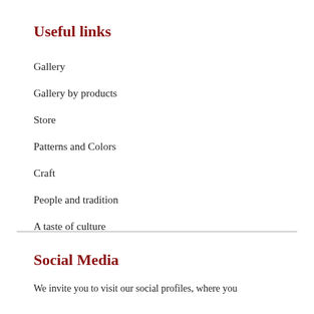Useful links
Gallery
Gallery by products
Store
Patterns and Colors
Craft
People and tradition
A taste of culture
Social Media
We invite you to visit our social profiles, where you